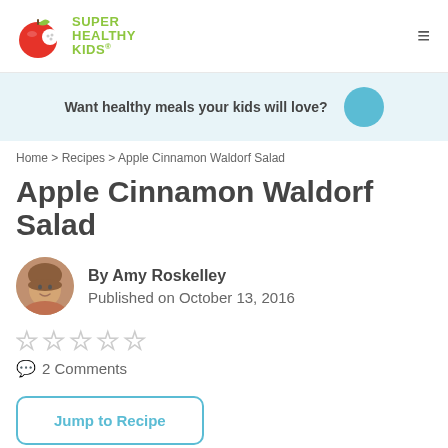[Figure (logo): Super Healthy Kids logo with apple icon and green text]
Want healthy meals your kids will love?
Home > Recipes > Apple Cinnamon Waldorf Salad
Apple Cinnamon Waldorf Salad
By Amy Roskelley
Published on October 13, 2016
☆☆☆☆☆
💬 2 Comments
Jump to Recipe